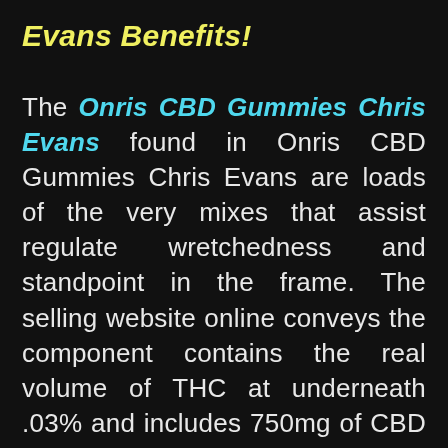Evans Benefits!
The Onris CBD Gummies Chris Evans found in Onris CBD Gummies Chris Evans are loads of the very mixes that assist regulate wretchedness and standpoint in the frame. The selling website online conveys the component contains the real volume of THC at underneath .03% and includes 750mg of CBD in step with compartment